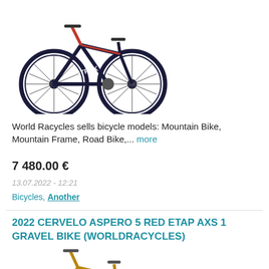[Figure (photo): Trek road bike in navy blue and red colorway, photographed from the side against a white background]
World Racycles sells bicycle models: Mountain Bike, Mountain Frame, Road Bike,... more
7 480.00 €
13.07.2022 - 12:21
Bicycles, Another
2022 CERVELO ASPERO 5 RED ETAP AXS 1 GRAVEL BIKE (WORLDRACYCLES)
[Figure (photo): Cervelo Aspero gravel bike in gold/bronze colorway, photographed from the side against a white background]